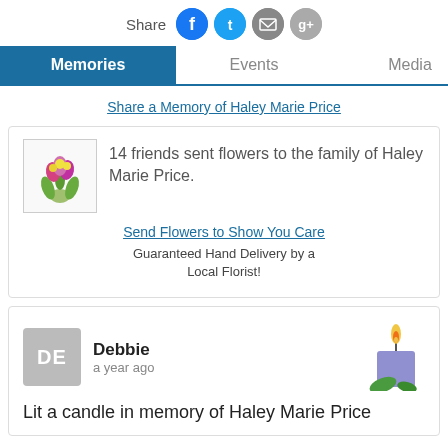[Figure (infographic): Share icons: Facebook (blue circle), Twitter (cyan circle), Email (gray circle), Google+ (gray circle) with 'Share' label]
Memories | Events | Media (tab bar)
Share a Memory of Haley Marie Price
14 friends sent flowers to the family of Haley Marie Price.
Send Flowers to Show You Care
Guaranteed Hand Delivery by a Local Florist!
Debbie
a year ago
Lit a candle in memory of Haley Marie Price